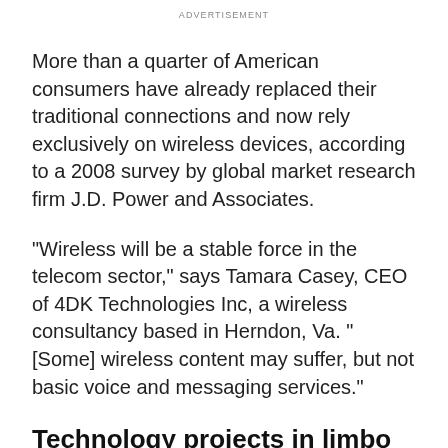ADVERTISEMENT
More than a quarter of American consumers have already replaced their traditional connections and now rely exclusively on wireless devices, according to a 2008 survey by global market research firm J.D. Power and Associates.
"Wireless will be a stable force in the telecom sector," says Tamara Casey, CEO of 4DK Technologies Inc, a wireless consultancy based in Herndon, Va. "[Some] wireless content may suffer, but not basic voice and messaging services."
Technology projects in limbo
Like consumers, businesses are also cutting back on